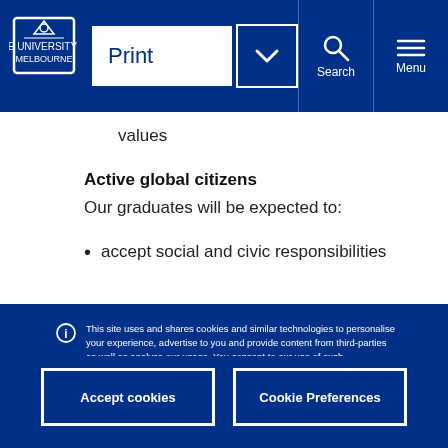Print [dropdown] Search Menu
values
Active global citizens
Our graduates will be expected to:
accept social and civic responsibilities
This site uses and shares cookies and similar technologies to personalise your experience, advertise to you and provide content from third-parties as well as analyse our usage. You consent to our use of such technologies by proceeding. You can change your mind or consent choices at any time. Visit our Privacy Statement for further information.
Accept cookies
Cookie Preferences